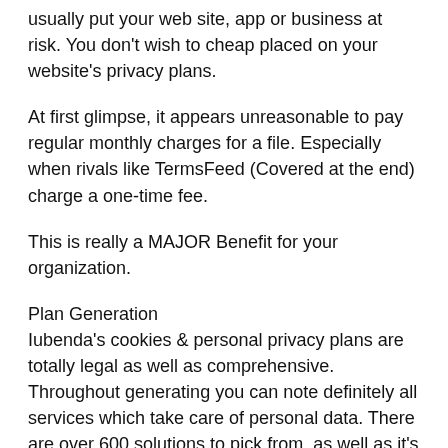usually put your web site, app or business at risk. You don't wish to cheap placed on your website's privacy plans.
At first glimpse, it appears unreasonable to pay regular monthly charges for a file. Especially when rivals like TermsFeed (Covered at the end) charge a one-time fee.
This is really a MAJOR Benefit for your organization.
Plan Generation
Iubenda's cookies & personal privacy plans are totally legal as well as comprehensive. Throughout generating you can note definitely all services which take care of personal data. There are over 600 solutions to pick from, as well as it's feasible to customize your very own.